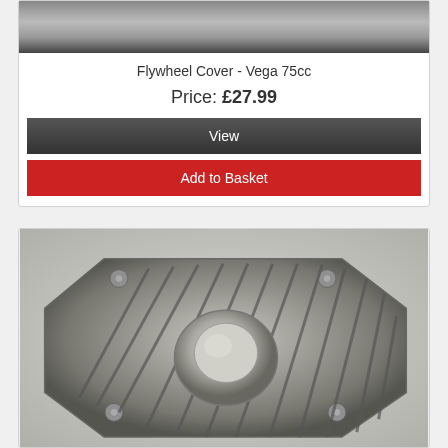[Figure (photo): Top portion of a flywheel cover product photo - dark metallic gradient background]
Flywheel Cover - Vega 75cc
Price: £27.99
View
Add to Basket
[Figure (photo): Photo of a Flywheel Cover for Vega 75cc - a metallic die-cast octagonal/rounded cover with cooling fins and central dome, shown against a grey background]